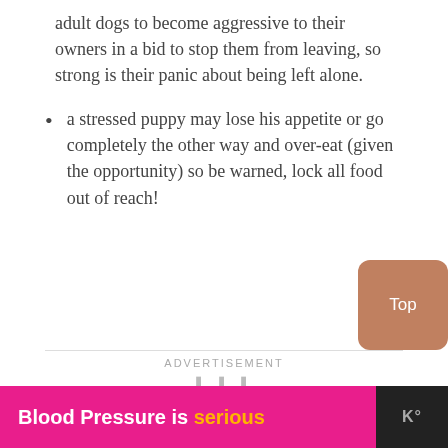adult dogs to become aggressive to their owners in a bid to stop them from leaving, so strong is their panic about being left alone.
a stressed puppy may lose his appetite or go completely the other way and over-eat (given the opportunity) so be warned, lock all food out of reach!
ADVERTISEMENT
[Figure (other): Advertisement banner at the bottom: pink section with text 'Blood Pressure is serious' and a dark section with a logo on the right.]